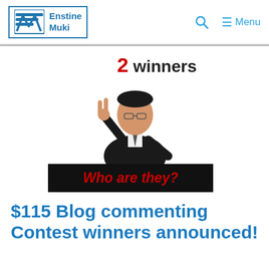Enstine Muki — Menu
[Figure (illustration): Blog contest promotional image showing a man in a suit making a peace sign with text '2 winners' above and 'Who are they?' on a dark banner below]
$115 Blog commenting Contest winners announced!